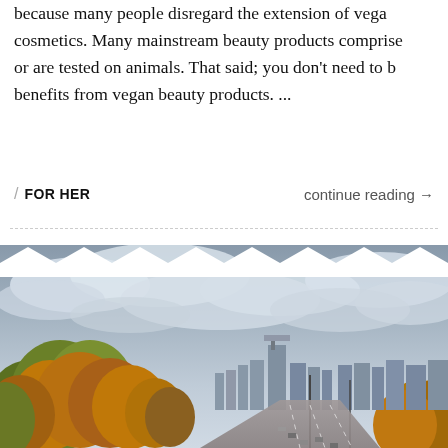because many people disregard the extension of vegan to cosmetics. Many mainstream beauty products comprise or are tested on animals. That said; you don't need to benefit from vegan beauty products. ...
/ FOR HER    continue reading →
[Figure (photo): Aerial view of a city skyline with autumn-colored trees in the foreground and a highway with cars. Zigzag/chevron decorative pattern overlays the top of the image. Cloudy sky above the skyline.]